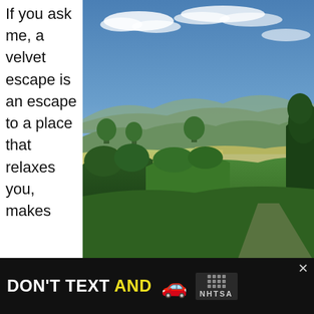If you ask me, a velvet escape is an escape to a place that relaxes you, makes
[Figure (photo): Landscape photo showing rolling green hills and fields under a blue sky with white clouds, with trees on the right side. Scenic countryside view of Via Leopoldina area.]
Via Leopoldina
you happy and surprises you at all times. If I had to recommend a destination for such an escape in my area, I would certainly recommend a drive, walk, bike- or horseback ride along a stretch of the ancient Via Leopoldina... we, in Tusc
[Figure (other): Advertisement banner: DON'T TEXT AND [car emoji] with NHTSA logo and close button]